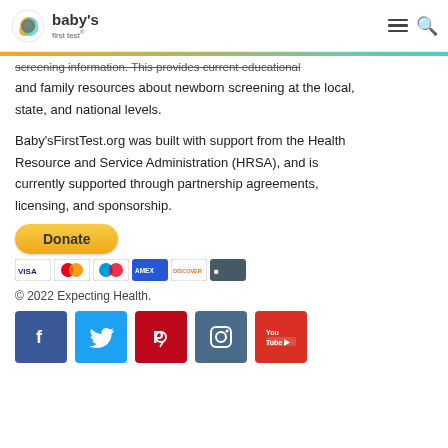baby's first test®
screening information. This provides current educational and family resources about newborn screening at the local, state, and national levels.
Baby'sFirstTest.org was built with support from the Health Resource and Service Administration (HRSA), and is currently supported through partnership agreements, licensing, and sponsorship.
[Figure (other): Donate button with PayPal styling and payment card icons (Visa, Mastercard, Maestro, American Express, Discover, and one more)]
© 2022 Expecting Health.
[Figure (other): Social media icons row: Facebook (blue), Twitter (light blue), Pinterest (red), Instagram (dark blue), YouTube (red)]